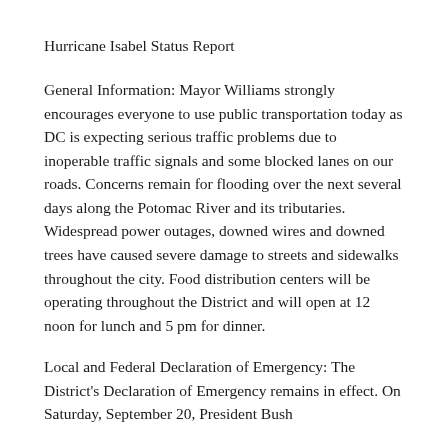Hurricane Isabel Status Report
General Information: Mayor Williams strongly encourages everyone to use public transportation today as DC is expecting serious traffic problems due to inoperable traffic signals and some blocked lanes on our roads. Concerns remain for flooding over the next several days along the Potomac River and its tributaries. Widespread power outages, downed wires and downed trees have caused severe damage to streets and sidewalks throughout the city. Food distribution centers will be operating throughout the District and will open at 12 noon for lunch and 5 pm for dinner.
Local and Federal Declaration of Emergency: The District's Declaration of Emergency remains in effect. On Saturday, September 20, President Bush